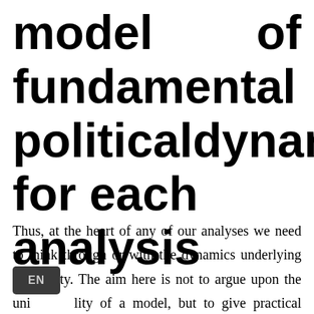model of fundamental political dynamics for each analysis
Thus, at the heart of any of our analyses we need to think through or with the dynamics underlying any polity. The aim here is not to argue upon the universality of a model, but to give practical advice grounded as much as possible in social